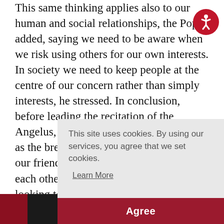This same thinking applies also to our human and social relationships, the Pope added, saying we need to be aware when we risk using others for our own interests. In society we need to keep people at the centre of our concern rather than simply interests, he stressed. In conclusion, before leading the recitation of the Angelus, he said, “let us welcome Jesus as the bread of life and, starting out from our friendship with Him, learn to love each other” freely and abundantly, looking to the ex th ca
[Figure (other): Accessibility icon — white stick figure in a circle on a dark red background, top right corner]
[Figure (photo): Partial photo strip at bottom left, dark background with red element visible]
This site uses cookies. By using our services, you agree that we set cookies.
Learn More
Agree